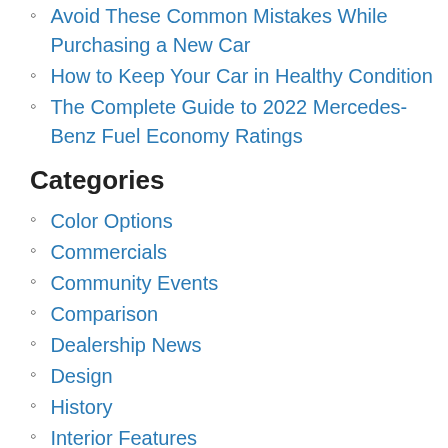Avoid These Common Mistakes While Purchasing a New Car
How to Keep Your Car in Healthy Condition
The Complete Guide to 2022 Mercedes-Benz Fuel Economy Ratings
Categories
Color Options
Commercials
Community Events
Comparison
Dealership News
Design
History
Interior Features
Just For Fun
Local
Mercedes-AMG
Mercedes-AMG EQE
Mercedes-AMG GLC
Mercedes-AMG GLE
Mercedes-AMG GT